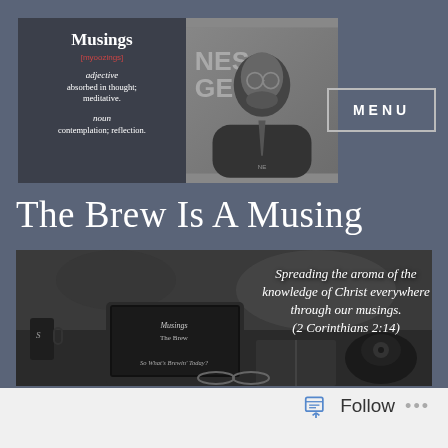[Figure (illustration): Blog header logo box with dark background containing dictionary-style definition of 'Musings' on the left and a black-and-white photo of a bearded man in a suit on the right]
Musings
[myoozings]
adjective
absorbed in thought; meditative.
noun
contemplation; reflection.
MENU
The Brew Is A Musing
[Figure (photo): Black-and-white photo of a desk scene with a laptop computer, mug, open book, and vintage telephone. Text overlay reads: Spreading the aroma of the knowledge of Christ everywhere through our musings. (2 Corinthians 2:14). Bottom of laptop screen shows text 'So What's Brewin' Today?']
Follow